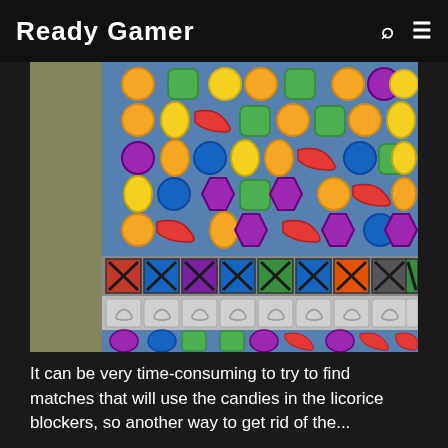Ready Gamer
[Figure (screenshot): Screenshot of Candy Crush game board showing colorful candy pieces (orange, green, yellow, red, purple, blue) on a grid, with licorice blocker squares at the bottom rows containing crossed X patterns, white swirled blockers in the middle bottom rows, and candy pieces in the last row.]
It can be very time-consuming to try to find matches that will use the candies in the licorice blockers, so another way to get rid of the...